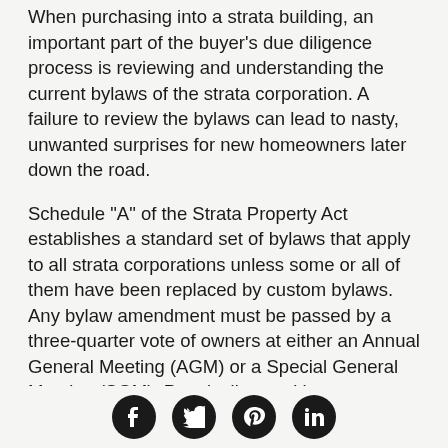When purchasing into a strata building, an important part of the buyer's due diligence process is reviewing and understanding the current bylaws of the strata corporation. A failure to review the bylaws can lead to nasty, unwanted surprises for new homeowners later down the road.
Schedule "A" of the Strata Property Act establishes a standard set of bylaws that apply to all strata corporations unless some or all of them have been replaced by custom bylaws. Any bylaw amendment must be passed by a three-quarter vote of owners at either an Annual General Meeting (AGM) or a Special General Meeting (SGM). Practically speaking, most large strata corporations will have adopted their own custom bylaws.
Bylaws are only enforceable if they are registered with the Land Title and Survey Authority (LTSA). However, there is no strict time limit within which a strata
Social media icons: Facebook, Twitter, Pinterest, LinkedIn